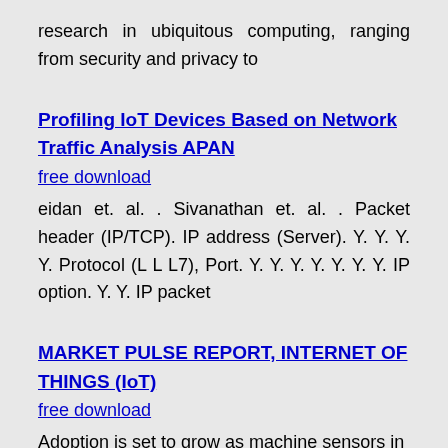research in ubiquitous computing, ranging from security and privacy to
Profiling IoT Devices Based on Network Traffic Analysis APAN
free download
eidan et. al. . Sivanathan et. al. . Packet header (IP/TCP). IP address (Server). Y. Y. Y. Y. Protocol (L L L7), Port. Y. Y. Y. Y. Y. Y. Y. IP option. Y. Y. IP packet
MARKET PULSE REPORT, INTERNET OF THINGS (IoT)
free download
Adoption is set to grow as machine sensors in